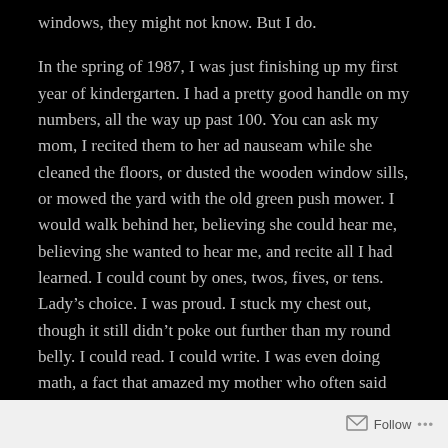windows, they might not know. But I do.
In the spring of 1987, I was just finishing up my first year of kindergarten. I had a pretty good handle on my numbers, all the way up past 100. You can ask my mom, I recited them to her ad nauseam while she cleaned the floors, or dusted the wooden window sills, or mowed the yard with the old green push mower. I would walk behind her, believing she could hear me, believing she wanted to hear me, and recite all I had learned. I could count by ones, twos, fives, or tens. Lady's choice. I was proud. I stuck my chest out, though it still didn't poke out further than my round belly. I could read. I could write. I was even doing math, a fact that amazed my mother who often said math was her worst subject.
Follow